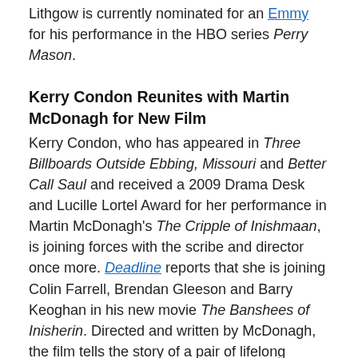Lithgow is currently nominated for an Emmy for his performance in the HBO series Perry Mason.
Kerry Condon Reunites with Martin McDonagh for New Film
Kerry Condon, who has appeared in Three Billboards Outside Ebbing, Missouri and Better Call Saul and received a 2009 Drama Desk and Lucille Lortel Award for her performance in Martin McDonagh's The Cripple of Inishmaan, is joining forces with the scribe and director once more. Deadline reports that she is joining Colin Farrell, Brendan Gleeson and Barry Keoghan in his new movie The Banshees of Inisherin. Directed and written by McDonagh, the film tells the story of a pair of lifelong friends on a remote Irish island who find themselves at an awkward time in their relationship when one of them no longer wants to be friends. Condon will play the sister of Farrell's